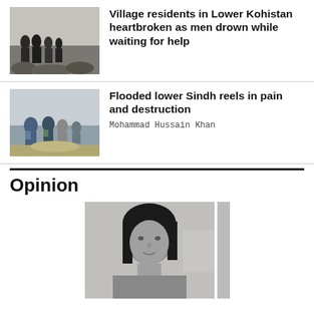[Figure (photo): People standing on rocky ground near water, grayscale photo]
Village residents in Lower Kohistan heartbroken as men drown while waiting for help
[Figure (photo): People wading through floodwater, grayscale photo]
Flooded lower Sindh reels in pain and destruction
Mohammad Hussain Khan
Opinion
[Figure (photo): Black and white portrait photo of a woman with dark hair, smiling slightly]